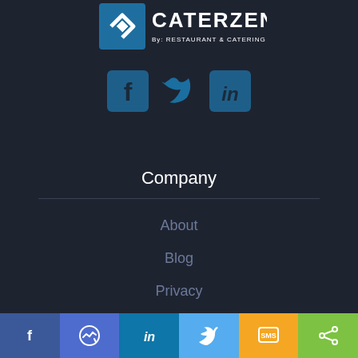[Figure (logo): Caterzen logo: diamond chevron icon with CATERZEN text and 'By: RESTAURANT & CATERING SYSTEMS' subtitle, white on dark background]
[Figure (infographic): Three social media icons in blue: Facebook square icon, Twitter bird icon, LinkedIn square icon]
Company
About
Blog
Privacy
Terms
[Figure (infographic): Bottom share bar with six colored buttons: Facebook (blue), Messenger (medium blue), LinkedIn (teal), Twitter (light blue), SMS (orange), Share (green)]